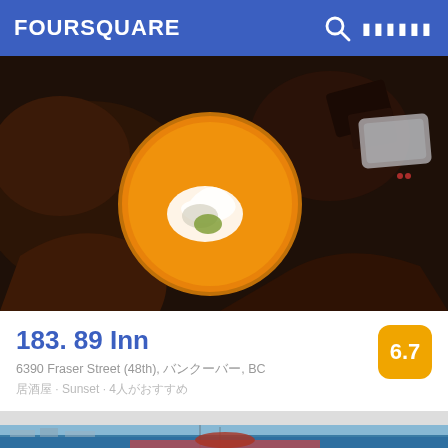FOURSQUARE
[Figure (photo): Top-down food photo showing an orange bowl with cream swirl and chocolate elements on a dark background]
183. 89 Inn
6390 Fraser Street (48th), ??????, BC
??? · Sunset · 4??????????
[Figure (photo): Waterfront seafood restaurant photo showing lobster/seafood platter with champagne bucket on table, harbour and boats in background]